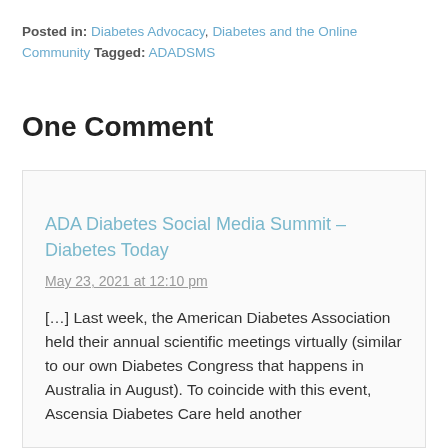Posted in: Diabetes Advocacy, Diabetes and the Online Community Tagged: ADADSMS
One Comment
ADA Diabetes Social Media Summit – Diabetes Today
May 23, 2021 at 12:10 pm
[…] Last week, the American Diabetes Association held their annual scientific meetings virtually (similar to our own Diabetes Congress that happens in Australia in August). To coincide with this event, Ascensia Diabetes Care held another